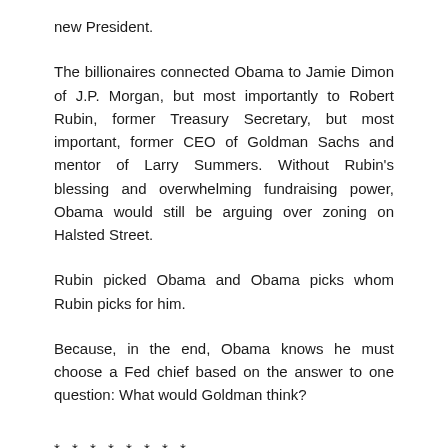new President.
The billionaires connected Obama to Jamie Dimon of J.P. Morgan, but most importantly to Robert Rubin, former Treasury Secretary, but most important, former CEO of Goldman Sachs and mentor of Larry Summers. Without Rubin's blessing and overwhelming fundraising power, Obama would still be arguing over zoning on Halsted Street.
Rubin picked Obama and Obama picks whom Rubin picks for him.
Because, in the end, Obama knows he must choose a Fed chief based on the answer to one question: What would Goldman think?
* * * * * * * *